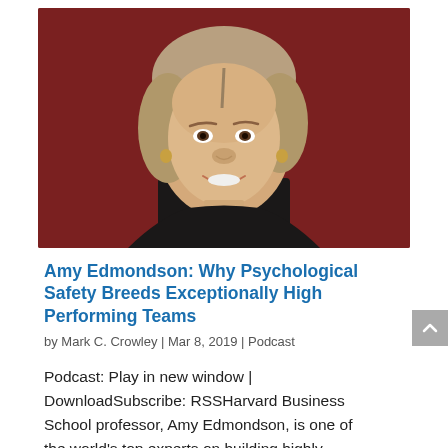[Figure (photo): Professional headshot of Amy Edmondson, a woman with shoulder-length gray-blonde hair, smiling, wearing gold earrings and a dark top, against a dark red background.]
Amy Edmondson: Why Psychological Safety Breeds Exceptionally High Performing Teams
by Mark C. Crowley | Mar 8, 2019 | Podcast
Podcast: Play in new window | DownloadSubscribe: RSSHarvard Business School professor, Amy Edmondson, is one of the world's top experts on building highly